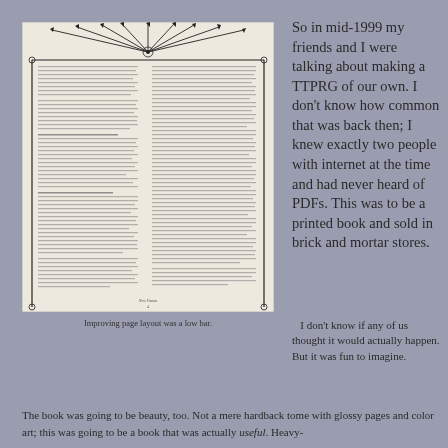[Figure (illustration): A scanned page from an old tabletop RPG book showing decorative ironwork border at the top with radiating lines, and dense two-column text below. At the bottom of the page appears 'New Fanon' and a page number.]
Improving page layout was a low bar.
So in mid-1999 my friends and I were talking about making a TTPRG of our own.  I don't know how common that was back then; I knew exactly two people with internet at the time and had never heard of PDFs.  This was to be a printed book and sold in brick and mortar stores.
I don't know if any of us thought it would actually happen.  But it was fun to imagine.
The book was going to be beauty, too.  Not a mere hardback tome with glossy pages and color art; this was going to be a book that was actually useful.  Heavy-